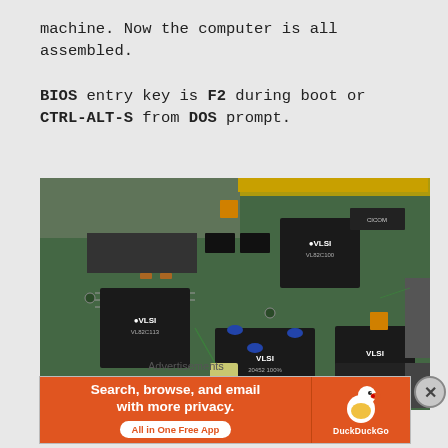machine. Now the computer is all assembled.
BIOS entry key is F2 during boot or CTRL-ALT-S from DOS prompt.
[Figure (photo): Close-up photograph of a vintage motherboard showing multiple VLSI chips and other integrated circuits on a green PCB.]
Advertisements
[Figure (infographic): DuckDuckGo advertisement banner: 'Search, browse, and email with more privacy. All in One Free App' on orange background with DuckDuckGo logo.]